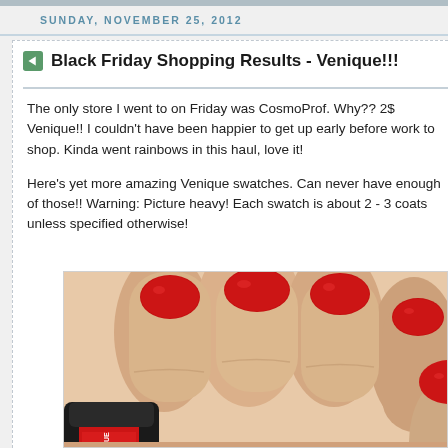SUNDAY, NOVEMBER 25, 2012
Black Friday Shopping Results - Venique!!!
The only store I went to on Friday was CosmoProf. Why?? 2$ Venique!! I couldn't have been happier to get up early before work to shop. Kinda went rainbows in this haul, love it!
Here's yet more amazing Venique swatches. Can never have enough of those!! Warning: Picture heavy! Each swatch is about 2 - 3 coats unless specified otherwise!
[Figure (photo): Close-up photo of hand with red nail polish (Venique brand), holding a red Venique nail polish bottle]